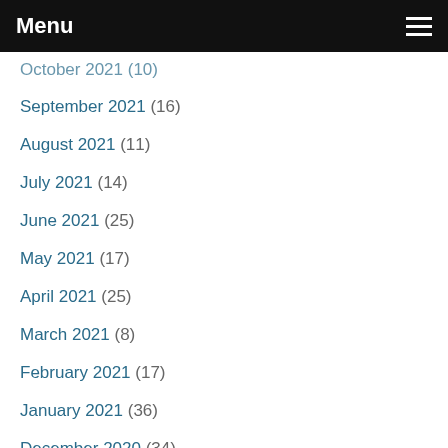Menu
October 2021 (10)
September 2021 (16)
August 2021 (11)
July 2021 (14)
June 2021 (25)
May 2021 (17)
April 2021 (25)
March 2021 (8)
February 2021 (17)
January 2021 (36)
December 2020 (34)
November 2020 (40)
October 2020 (30)
September 2020 (40)
August 2020 (40)